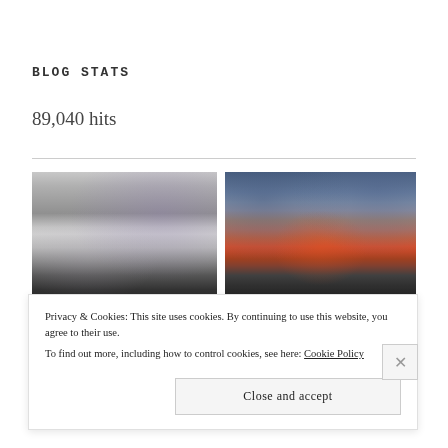BLOG STATS
89,040 hits
[Figure (photo): Black and white photograph of a cloudy beach scene with silhouetted people along the shoreline]
[Figure (photo): Color photograph of a dramatic sunset over the ocean with dark clouds and orange/red sky, silhouetted people along shoreline]
Privacy & Cookies: This site uses cookies. By continuing to use this website, you agree to their use.
To find out more, including how to control cookies, see here: Cookie Policy
Close and accept